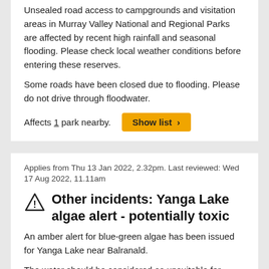Unsealed road access to campgrounds and visitation areas in Murray Valley National and Regional Parks are affected by recent high rainfall and seasonal flooding. Please check local weather conditions before entering these reserves.
Some roads have been closed due to flooding. Please do not drive through floodwater.
Affects 1 park nearby.
Applies from Thu 13 Jan 2022, 2.32pm. Last reviewed: Wed 17 Aug 2022, 11.11am
Other incidents: Yanga Lake algae alert - potentially toxic
An amber alert for blue-green algae has been issued for Yanga Lake near Balranald.
The water should be considered as unsuitable for potable use, but generally suitable for water sports. However, people are advised to exercise caution in these areas as blue-green algae is toxic and may cause gastroenteritis in humans if consumed, as well as skin and eye irritations after contact.
Regatta Beach picnic area remains open. Please avoid contact